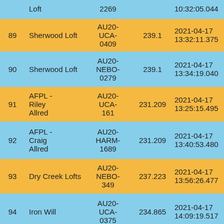| # | Name | Band | Distance | Time | Score |
| --- | --- | --- | --- | --- | --- |
|  | Loft | 2269 |  | 10:32:05.044 |  |
| 89 | Sherwood Loft | AU20-UCA-0409 | 239.1 | 2021-04-17 13:32:11.375 | 1266.797 |
| 90 | Sherwood Loft | AU20-NEBO-0279 | 239.1 | 2021-04-17 13:34:19.040 | 1258.735 |
| 91 | AFPL - Riley Allred | AU20-UCA-161 | 231.209 | 2021-04-17 13:25:15.495 | 1251.092 |
| 92 | AFPL - Craig Allred | AU20-HARM-1689 | 231.209 | 2021-04-17 13:40:53.480 | 1193.717 |
| 93 | Dry Creek Lofts | AU20-NEBO-349 | 237.223 | 2021-04-17 13:56:26.477 | 1171.337 |
| 94 | Iron Will | AU20-UCA-0375 | 234.865 | 2021-04-17 14:09:19.517 | 1119.239 |
|  | AFPL - | AU20- |  |  |  |